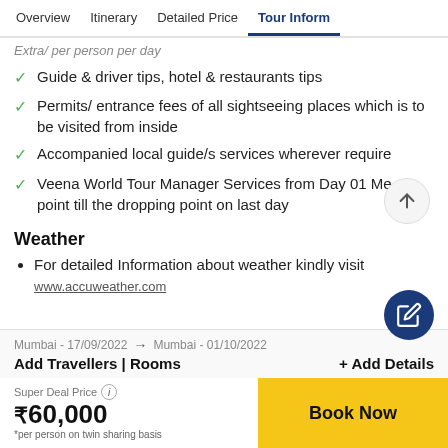Overview | Itinerary | Detailed Price | Tour Inform
Extra/ per person per day
Guide & driver tips, hotel & restaurants tips
Permits/ entrance fees of all sightseeing places which is to be visited from inside
Accompanied local guide/s services wherever require
Veena World Tour Manager Services from Day 01 Meeting point till the dropping point on last day
Weather
For detailed Information about weather kindly visit www.accuweather.com
Mumbai - 17/09/2022 → Mumbai - 01/10/2022 | Add Travellers | Rooms | + Add Details | Super Deal Price ℹ | ₹60,000 | *per person on twin sharing basis | Book Now